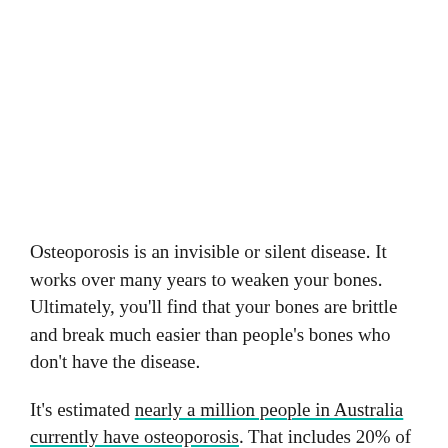Osteoporosis is an invisible or silent disease. It works over many years to weaken your bones. Ultimately, you'll find that your bones are brittle and break much easier than people's bones who don't have the disease.
It's estimated nearly a million people in Australia currently have osteoporosis. That includes 20% of people over 75. The problem is that most people don't know